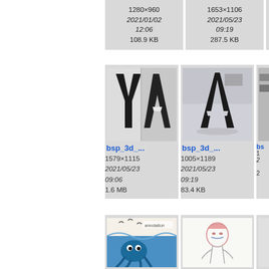[Figure (screenshot): File browser / image gallery grid view showing image thumbnails with filenames, dimensions, dates, and file sizes. Partial view of several rows. Top row shows metadata only: 1280×960 2021/01/02 12:06 108.9 KB and 1653×1106 2021/05/23 09:19 287.5 KB. Middle row shows two 3D letter images labeled bsp_3d_... with metadata 1579×1115 2021/05/23 09:06 1.6 MB and 1005×1189 2021/05/23 09:19 83.4 KB. Bottom row shows two illustration images labeled bsp_blin... with metadata 1280×1707 and 1280×1707.]